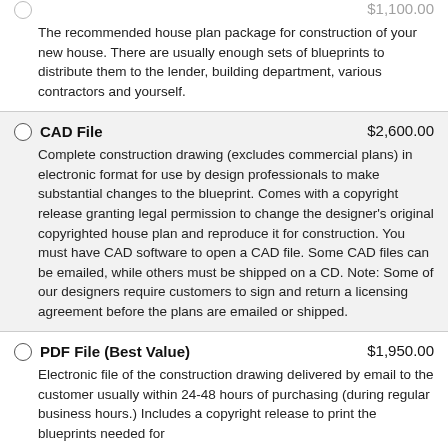The recommended house plan package for construction of your new house. There are usually enough sets of blueprints to distribute them to the lender, building department, various contractors and yourself.
CAD File — $2,600.00 — Complete construction drawing (excludes commercial plans) in electronic format for use by design professionals to make substantial changes to the blueprint. Comes with a copyright release granting legal permission to change the designer's original copyrighted house plan and reproduce it for construction. You must have CAD software to open a CAD file. Some CAD files can be emailed, while others must be shipped on a CD. Note: Some of our designers require customers to sign and return a licensing agreement before the plans are emailed or shipped.
PDF File (Best Value) — $1,950.00 — Electronic file of the construction drawing delivered by email to the customer usually within 24-48 hours of purchasing (during regular business hours.) Includes a copyright release to print the blueprints needed for